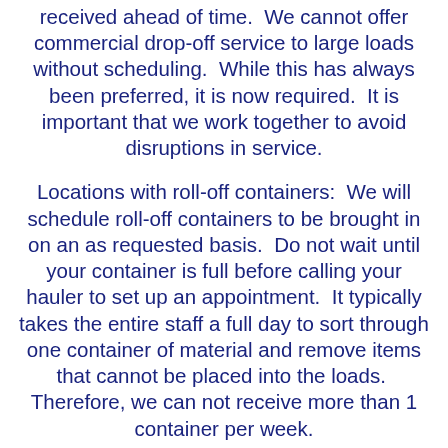received ahead of time.  We cannot offer commercial drop-off service to large loads without scheduling.  While this has always been preferred, it is now required.  It is important that we work together to avoid disruptions in service.
Locations with roll-off containers:  We will schedule roll-off containers to be brought in on an as requested basis.  Do not wait until your container is full before calling your hauler to set up an appointment.  It typically takes the entire staff a full day to sort through one container of material and remove items that cannot be placed into the loads.  Therefore, we can not receive more than 1 container per week.